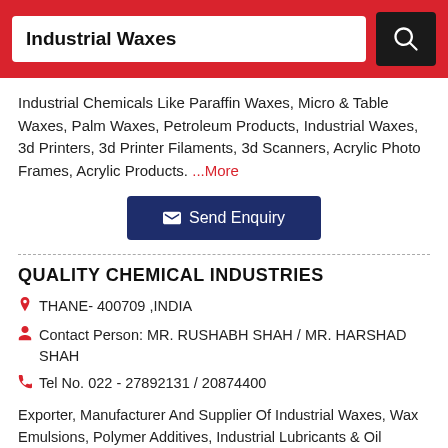Industrial Waxes
Industrial Chemicals Like Paraffin Waxes, Micro & Table Waxes, Palm Waxes, Petroleum Products, Industrial Waxes, 3d Printers, 3d Printer Filaments, 3d Scanners, Acrylic Photo Frames, Acrylic Products. ...More
Send Enquiry
QUALITY CHEMICAL INDUSTRIES
THANE- 400709 ,INDIA
Contact Person: MR. RUSHABH SHAH / MR. HARSHAD SHAH
Tel No. 022 - 27892131 / 20874400
Exporter, Manufacturer And Supplier Of Industrial Waxes, Wax Emulsions, Polymer Additives, Industrial Lubricants & Oil Additives, Cutting Oils, Lubricant Additives, Lubricating Oil Additives, Non Ibr Boilers, Non Ibr Ste...More